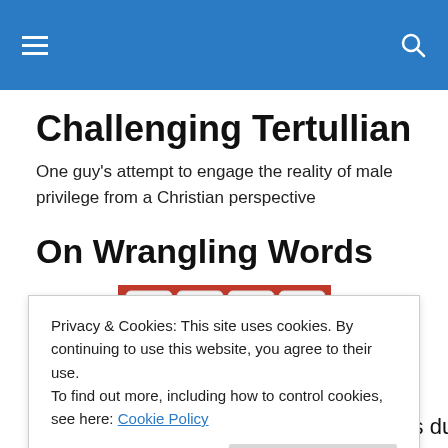Challenging Tertullian
One guy's attempt to engage the reality of male privilege from a Christian perspective
On Wrangling Words
[Figure (photo): Photo of letter tiles showing E, F, G, H on an orange/red background]
Privacy & Cookies: This site uses cookies. By continuing to use this website, you agree to their use.
To find out more, including how to control cookies, see here: Cookie Policy
Close and accept
project, as my DMiss literature review is due in just 11